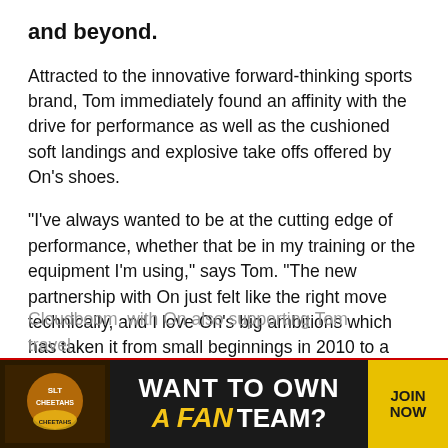and beyond.
Attracted to the innovative forward-thinking sports brand, Tom immediately found an affinity with the drive for performance as well as the cushioned soft landings and explosive take offs offered by On's shoes.
“I've always wanted to be at the cutting edge of performance, whether that be in my training or the equipment I'm using,” says Tom. “The new partnership with On just felt like the right move technically, and I love On’s big ambitions which has taken it from small beginnings in 2010 to a power house globally in the running and endurance world’s today.”
The sponsorship will see Tom racing in the On Cloudboom and training in the On Cloudstratus and Cloudboom, with On also supporting Tom travel...
[Figure (infographic): Dark advertisement banner: SLT Cheetahs logo on left, 'WANT TO OWN A FAN TEAM?' text in center, 'JOIN NOW' button on right in yellow]